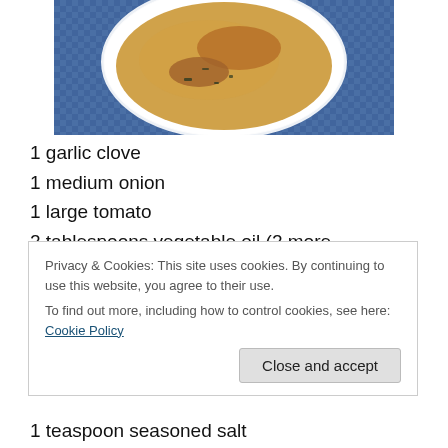[Figure (photo): Top-down view of a white bowl containing soup with broth and pieces of food, placed on a blue patterned cloth/mat]
1 garlic clove
1 medium onion
1 large tomato
2 tablespoons vegetable oil (2 more tablespoons later)
2 tablespoons vegetable oil
4 ... (partially obscured by cookie banner)
Privacy & Cookies: This site uses cookies. By continuing to use this website, you agree to their use.
To find out more, including how to control cookies, see here: Cookie Policy
Close and accept
1 teaspoon seasoned salt